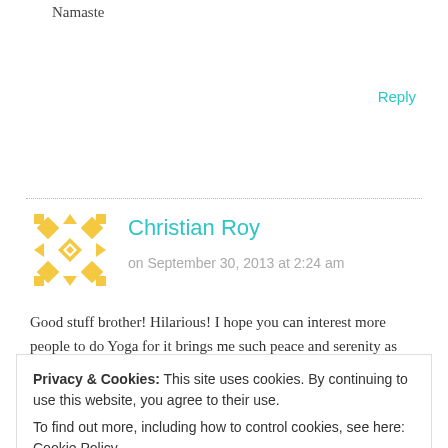Namaste
Reply
[Figure (illustration): Yellow geometric/mosaic avatar icon for commenter Christian Roy]
Christian Roy
on September 30, 2013 at 2:24 am
Good stuff brother! Hilarious! I hope you can interest more people to do Yoga for it brings me such peace and serenity as well. Peace and
Privacy & Cookies: This site uses cookies. By continuing to use this website, you agree to their use.
To find out more, including how to control cookies, see here: Cookie Policy
Close and accept